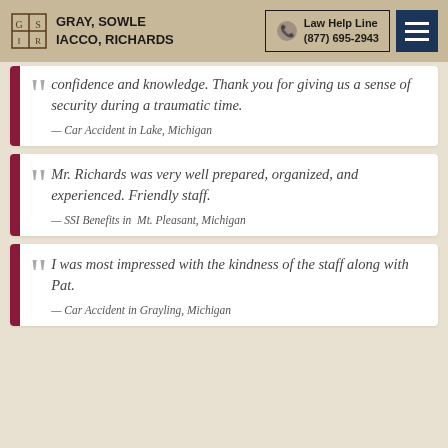Gray, Sowle Iacco, Richards — Law Help Line (877) 695-2943
confidence and knowledge. Thank you for giving us a sense of security during a traumatic time.
— Car Accident in Lake, Michigan
Mr. Richards was very well prepared, organized, and experienced. Friendly staff.
— SSI Benefits in Mt. Pleasant, Michigan
I was most impressed with the kindness of the staff along with Pat.
— Car Accident in Grayling, Michigan